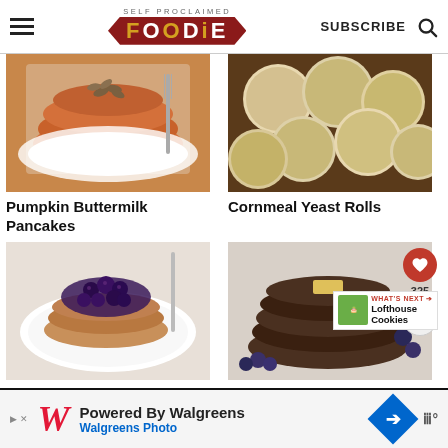SELF PROCLAIMED FOODIE — SUBSCRIBE (search icon)
[Figure (photo): Stack of pumpkin buttermilk pancakes topped with seeds on a white plate with fork]
Pumpkin Buttermilk Pancakes
[Figure (photo): Cornmeal yeast rolls, golden round bread rolls on a dark surface]
Cornmeal Yeast Rolls
[Figure (photo): Whole wheat pancakes topped with blueberry compote on a white plate]
Whole Wheat
[Figure (photo): Dark buckwheat pancakes stacked with butter on top, blueberries on side; social share overlay with heart button, 325 count, share button; What's Next banner with Lofthouse Cookies]
Buckwheat Pancakes
Powered By Walgreens — Walgreens Photo (advertisement)